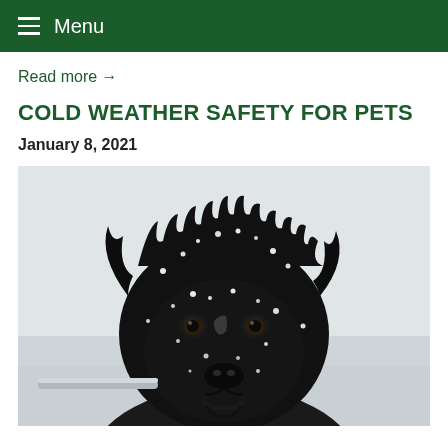Menu
Read more →
COLD WEATHER SAFETY FOR PETS
January 8, 2021
[Figure (photo): Close-up portrait of a black fluffy dog with snow flakes on its fur and face, looking directly at the camera against a white/grey wintry background]